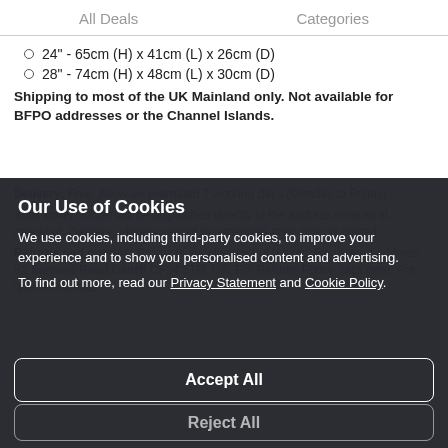All Deals   Categories
24" - 65cm (H) x 41cm (L) x 26cm (D)
28" - 74cm (H) x 48cm (L) x 30cm (D)
Shipping to most of the UK Mainland only. Not available for BFPO addresses or the Channel Islands.
Our Use of Cookies
We use cookies, including third-party cookies, to improve your experience and to show you personalised content and advertising.
To find out more, read our Privacy Statement and Cookie Policy.
Delivery: Free. Allow an estimated 7 working days (Monday to Friday).
Your order: Order will be dispatched directly to the address entered at checkout. Delivery address cannot be amended after order is placed.
Returns and queries: Products supplied by LuLu bags. Registered address: 82 Samwell Road Cardiff CF24 5TH, UK. For Returns Policy, click here. For queries contact:
Accept All
Reject All
Read
My Options